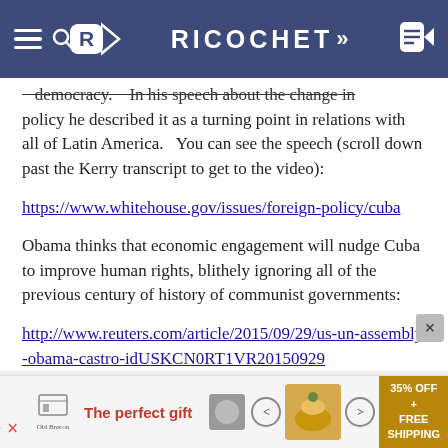RICOCHET
democracy.    In his speech about the change in policy he described it as a turning point in relations with all of Latin America.   You can see the speech (scroll down past the Kerry transcript to get to the video):
https://www.whitehouse.gov/issues/foreign-policy/cuba
Obama thinks that economic engagement will nudge Cuba to improve human rights, blithely ignoring all of the previous century of history of communist governments:
http://www.reuters.com/article/2015/09/29/us-un-assembly-obama-castro-idUSKCN0RT1VR20150929